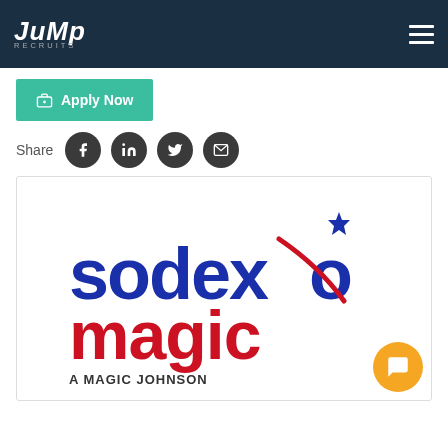JUMP RECRUITS
[Figure (logo): Apply Now button with briefcase icon, teal background]
Share
[Figure (logo): Sodexo Magic - A Magic Johnson Partnership logo inside a white card with border]